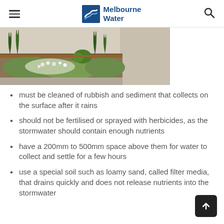Melbourne Water
[Figure (photo): Photograph of a garden bed with low-growing plants and succulents between a path and a road, typical of a rain garden or stormwater biofilter installation.]
must be cleaned of rubbish and sediment that collects on the surface after it rains
should not be fertilised or sprayed with herbicides, as the stormwater should contain enough nutrients
have a 200mm to 500mm space above them for water to collect and settle for a few hours
use a special soil such as loamy sand, called filter media, that drains quickly and does not release nutrients into the stormwater